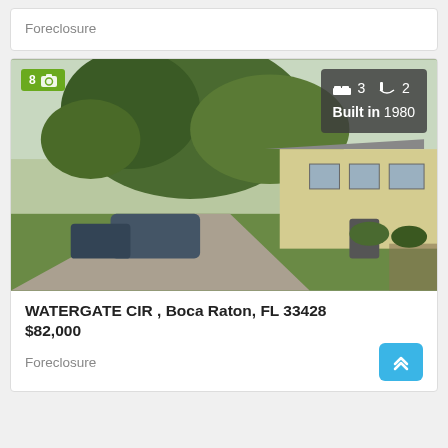Foreclosure
[Figure (photo): Exterior photo of a single-family home at Watergate Cir, Boca Raton FL. Shows a residential house with trees in front, a driveway, parked cars. Overlaid with property details: 3 beds, 2 baths, Built in 1980. Green badge showing 8 photos.]
WATERGATE CIR , Boca Raton, FL 33428
$82,000
Foreclosure